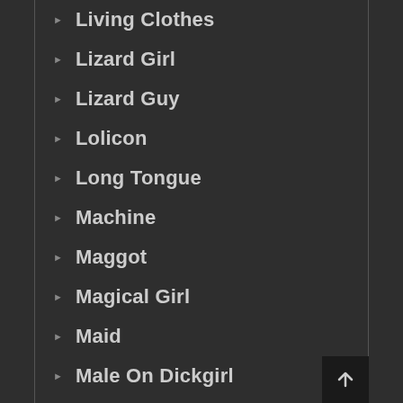Living Clothes
Lizard Girl
Lizard Guy
Lolicon
Long Tongue
Machine
Maggot
Magical Girl
Maid
Male On Dickgirl
Males Only
Manga
Manhug